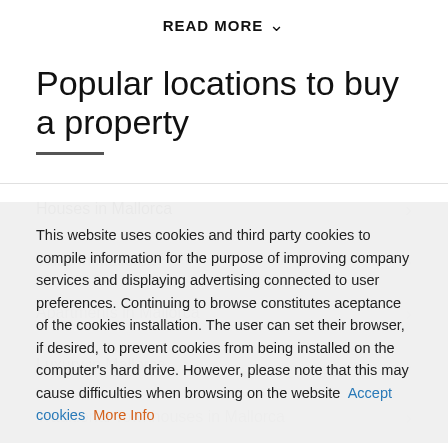READ MORE ˅
Popular locations to buy a property
Houses in Mallorca
Villas in Mallorca
Apartments in Mallorca
Luxury in Mallorca
Traditional Townhouses in Mallorca
This website uses cookies and third party cookies to compile information for the purpose of improving company services and displaying advertising connected to user preferences. Continuing to browse constitutes aceptance of the cookies installation. The user can set their browser, if desired, to prevent cookies from being installed on the computer's hard drive. However, please note that this may cause difficulties when browsing on the website  Accept cookies  More Info